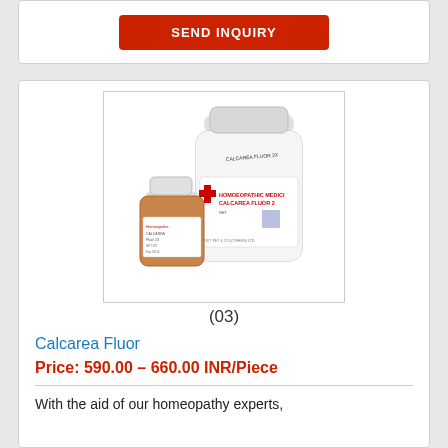[Figure (other): Send Inquiry button (red/orange button with white text)]
[Figure (photo): Two bottles of Calcarea Fluor homeopathic medicine — one large white bottle and one small amber bottle, labeled CALCAREA FLUOR and HOMOEOPATHIC MEDICINE]
(03)
Calcarea Fluor
Price: 590.00 - 660.00 INR/Piece
With the aid of our homeopathy experts,